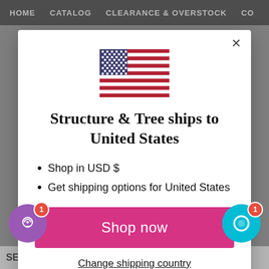HOME   CATALOG   CLEARANCE & OVERSTOCK   CO
[Figure (screenshot): US flag emoji/icon centered in modal]
Structure & Tree ships to United States
Shop in USD $
Get shipping options for United States
Shop now
Change shipping country
SECTION 32 - TRADEMARK